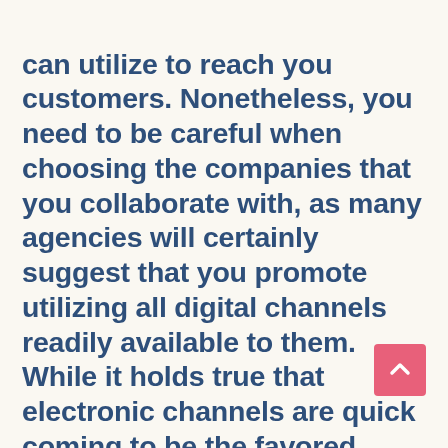can utilize to reach you customers. Nonetheless, you need to be careful when choosing the companies that you collaborate with, as many agencies will certainly suggest that you promote utilizing all digital channels readily available to them. While it holds true that electronic channels are quick coming to be the favored method for people to advertise and also consume media, there is absolutely nothing wrong with marketing on typical approaches as well. If what you require is to expand your reach, go all out! However, if you need to